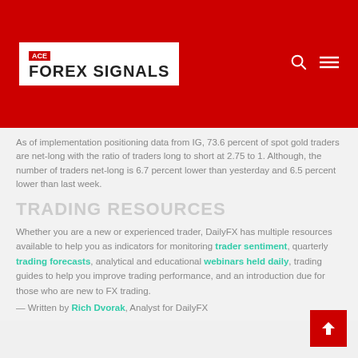ACE FOREX SIGNALS
As of implementation positioning data from IG, 73.6 percent of spot gold traders are net-long with the ratio of traders long to short at 2.75 to 1. Although, the number of traders net-long is 6.7 percent lower than yesterday and 6.5 percent lower than last week.
TRADING RESOURCES
Whether you are a new or experienced trader, DailyFX has multiple resources available to help you as indicators for monitoring trader sentiment, quarterly trading forecasts, analytical and educational webinars held daily, trading guides to help you improve trading performance, and an introduction due for those who are new to FX trading.
— Written by Rich Dvorak, Analyst for DailyFX